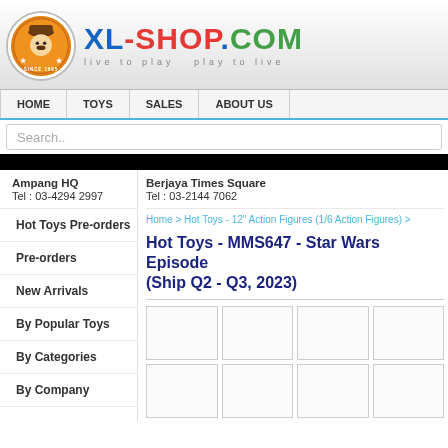[Figure (logo): XL-Shop.com logo with cartoon mascot in orange circle and colorful text logo, tagline: live to play   play to live]
HOME | TOYS | SALES | ABOUT US
Search..
Ampang HQ
Tel : 03-4294 2997
Berjaya Times Square
Tel : 03-2144 7062
Home > Hot Toys - 12" Action Figures (1/6 Action Figures) >
Hot Toys Pre-orders
Pre-orders
Hot Toys - MMS647 - Star Wars Episode (Ship Q2 - Q3, 2023)
New Arrivals
By Popular Toys
By Categories
By Company